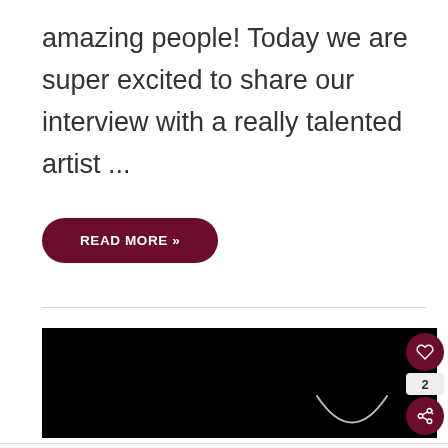amazing people! Today we are super excited to share our interview with a really talented artist ...
READ MORE »
[Figure (screenshot): Dark/black image area with a faint crescent moon shape at bottom right, with social action buttons (heart/like, count=2, share) on the right side]
Lidl Groceries Are Low-Priced Lidl